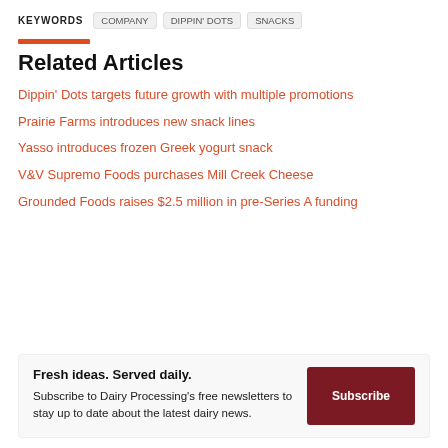KEYWORDS  COMPANY  DIPPIN' DOTS  SNACKS
Related Articles
Dippin' Dots targets future growth with multiple promotions
Prairie Farms introduces new snack lines
Yasso introduces frozen Greek yogurt snack
V&V Supremo Foods purchases Mill Creek Cheese
Grounded Foods raises $2.5 million in pre-Series A funding
Fresh ideas. Served daily.
Subscribe to Dairy Processing's free newsletters to stay up to date about the latest dairy news.